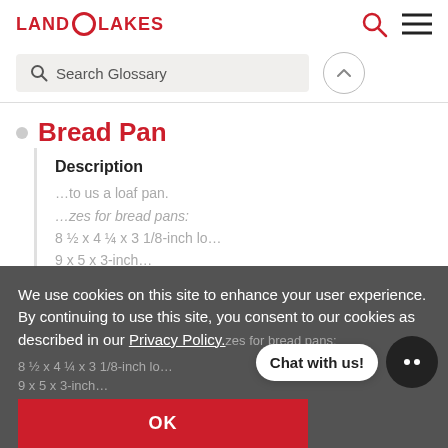LAND O LAKES
Search Glossary
Bread Pan
Description
We use cookies on this site to enhance your user experience. By continuing to use this site, you consent to our cookies as described in our Privacy Policy.
OK